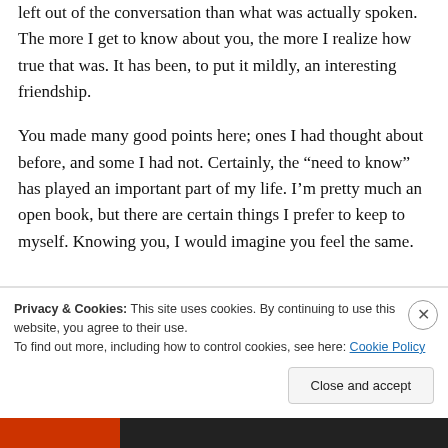left out of the conversation than what was actually spoken. The more I get to know about you, the more I realize how true that was. It has been, to put it mildly, an interesting friendship.
You made many good points here; ones I had thought about before, and some I had not. Certainly, the “need to know” has played an important part of my life. I’m pretty much an open book, but there are certain things I prefer to keep to myself. Knowing you, I would imagine you feel the same.
Privacy & Cookies: This site uses cookies. By continuing to use this website, you agree to their use.
To find out more, including how to control cookies, see here: Cookie Policy